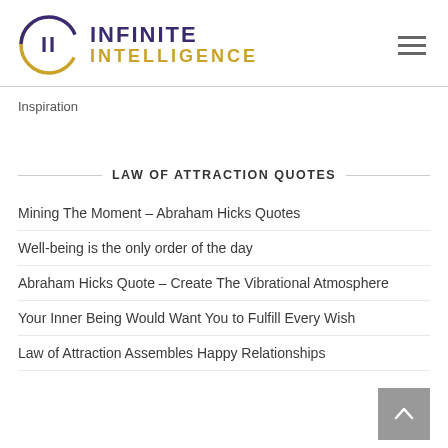[Figure (logo): Infinite Intelligence logo with golden circle containing 'II' in dark purple, with 'INFINITE' in dark purple bold and 'INTELLIGENCE' in golden bold text]
Inspiration
LAW OF ATTRACTION QUOTES
Mining The Moment – Abraham Hicks Quotes
Well-being is the only order of the day
Abraham Hicks Quote – Create The Vibrational Atmosphere
Your Inner Being Would Want You to Fulfill Every Wish
Law of Attraction Assembles Happy Relationships